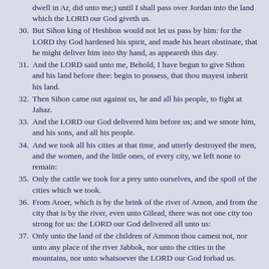dwell in Ar, did unto me;) until I shall pass over Jordan into the land which the LORD our God giveth us.
30. But Sihon king of Heshbon would not let us pass by him: for the LORD thy God hardened his spirit, and made his heart obstinate, that he might deliver him into thy hand, as appeareth this day.
31. And the LORD said unto me, Behold, I have begun to give Sihon and his land before thee: begin to possess, that thou mayest inherit his land.
32. Then Sihon came out against us, he and all his people, to fight at Jahaz.
33. And the LORD our God delivered him before us; and we smote him, and his sons, and all his people.
34. And we took all his cities at that time, and utterly destroyed the men, and the women, and the little ones, of every city, we left none to remain:
35. Only the cattle we took for a prey unto ourselves, and the spoil of the cities which we took.
36. From Aroer, which is by the brink of the river of Arnon, and from the city that is by the river, even unto Gilead, there was not one city too strong for us: the LORD our God delivered all unto us:
37. Only unto the land of the children of Ammon thou camest not, nor unto any place of the river Jabbok, nor unto the cities in the mountains, nor unto whatsoever the LORD our God forbad us.
Numbers Deuteronomy chapter 1 Deuteronomy chapter 3 Joshua
xxxxxxx Basic English Version (xstrong number)xxxxx xxxx xxxxxxx xxxxxxx xxxxxxx